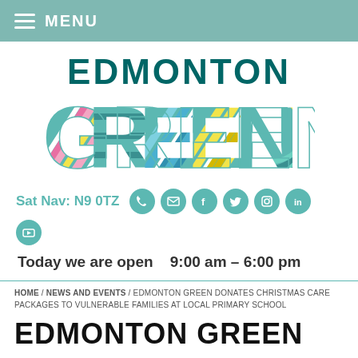MENU
[Figure (logo): Edmonton Green shopping centre logo — 'EDMONTON' in dark teal, 'GREEN' in large decorated letters with colourful striped patterns in teal, pink, yellow, and blue]
Sat Nav: N9 0TZ [phone] [email] [facebook] [twitter] [instagram] [linkedin] [youtube]
Today we are open   9:00 am – 6:00 pm
HOME / NEWS AND EVENTS / EDMONTON GREEN DONATES CHRISTMAS CARE PACKAGES TO VULNERABLE FAMILIES AT LOCAL PRIMARY SCHOOL
EDMONTON GREEN